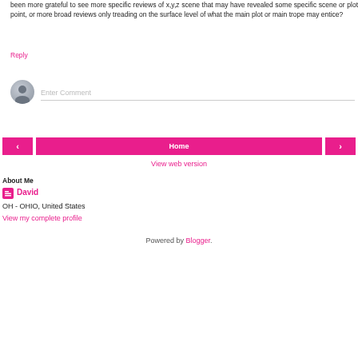been more grateful to see more specific reviews of x,y,z scene that may have revealed some specific scene or plot point, or more broad reviews only treading on the surface level of what the main plot or main trope may entice?
Reply
Enter Comment
< Home >
View web version
About Me
David
OH - OHIO, United States
View my complete profile
Powered by Blogger.